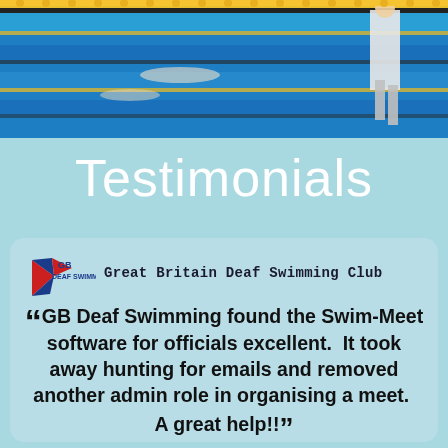[Figure (photo): Swimming pool photo showing lanes with swimmers and a coach/official walking alongside the pool]
Testimonials
[Figure (logo): GB Deaf Swimming logo with Union Jack flag design]
Great Britain Deaf Swimming Club
““ GB Deaf Swimming found the Swim-Meet software for officials excellent.  It took away hunting for emails and removed another admin role in organising a meet.  A great help!! ””